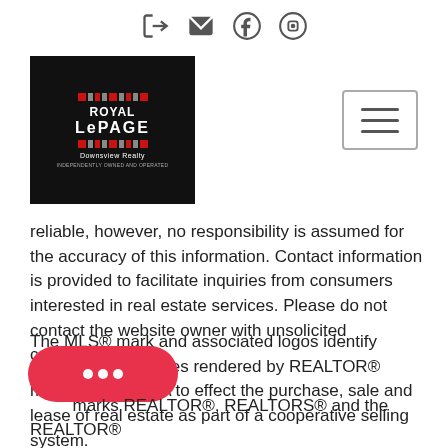Icons: login, email, facebook, instagram
[Figure (logo): Royal LePage Downsview Realty logo on black background]
[Figure (other): Hamburger menu button]
reliable, however, no responsibility is assumed for the accuracy of this information. Contact information is provided to facilitate inquiries from consumers interested in real estate services. Please do not contact the website owner with unsolicited commercial offers.
The MLS® mark and associated logos identify professional services rendered by REALTOR® members of CREA to effect the purchase, sale and lease of real estate as part of a cooperative selling system.
[Figure (other): Red chat bubble button with ellipsis]
marks REALTOR®, REALTORS® and the REALTOR®